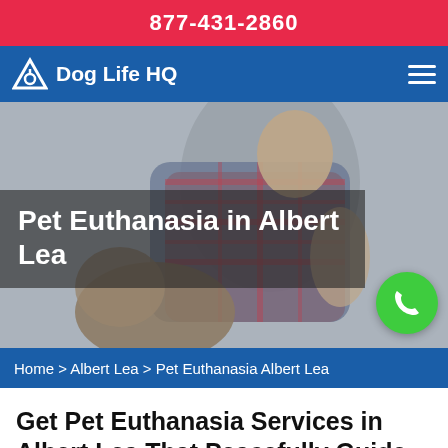877-431-2860
Dog Life HQ
[Figure (photo): A person hugging a dog outdoors, blurred background, emotional scene]
Pet Euthanasia in Albert Lea
Home > Albert Lea > Pet Euthanasia Albert Lea
Get Pet Euthanasia Services in Albert Lea That Peacefully Guide Your Pet To Take Its Last Breath. We Understand The